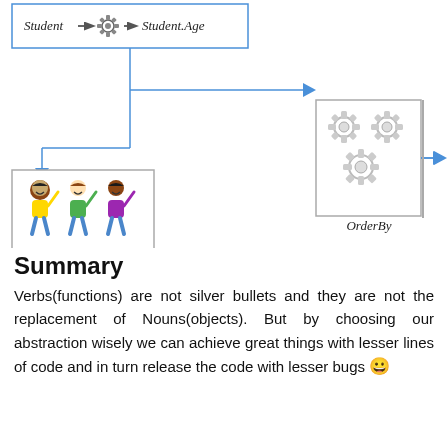[Figure (flowchart): Diagram showing: top box with 'Student -> gear -> Student.Age', a vertical line splitting into two arrows: one pointing right to a three-gear 'OrderBy' operator box, which then points right to a box of three kids (students); and one pointing down-left to another box of three kids (input students collection). Labels include 'OrderBy' beneath the center gear box.]
Summary
Verbs(functions) are not silver bullets and they are not the replacement of Nouns(objects). But by choosing our abstraction wisely we can achieve great things with lesser lines of code and in turn release the code with lesser bugs 😀